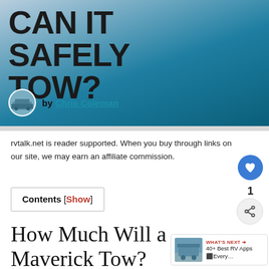CAN IT SAFELY TOW?
by Chris Coleman
rvtalk.net is reader supported. When you buy through links on our site, we may earn an affiliate commission.
Contents [Show]
How Much Will a Maverick Tow?